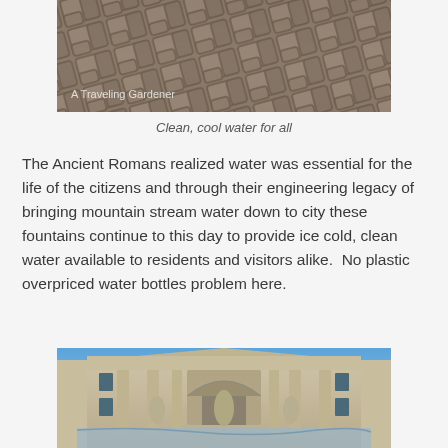[Figure (photo): Close-up of cobblestone pavement with watermark text 'A Traveling Gardener']
Clean, cool water for all
The Ancient Romans realized water was essential for the life of the citizens and through their engineering legacy of bringing mountain stream water down to city these fountains continue to this day to provide ice cold, clean water available to residents and visitors alike.  No plastic overpriced water bottles problem here.
[Figure (photo): The Trevi Fountain in Rome, showing the ornate baroque facade with statues]